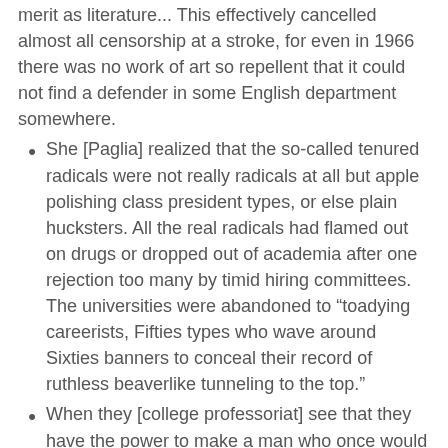merit as literature... This effectively cancelled almost all censorship at a stroke, for even in 1966 there was no work of art so repellent that it could not find a defender in some English department somewhere.
She [Paglia] realized that the so-called tenured radicals were not really radicals at all but apple polishing class president types, or else plain hucksters. All the real radicals had flamed out on drugs or dropped out of academia after one rejection too many by timid hiring committees. The universities were abandoned to “toadying careerists, Fifties types who wave around Sixties banners to conceal their record of ruthless beaverlike tunneling to the top.”
When they [college professoriat] see that they have the power to make a man who once would have been an adult with a wife and kid instead sit in a cage well into his midtwenties, taking creative writing from some goateed drudge, they